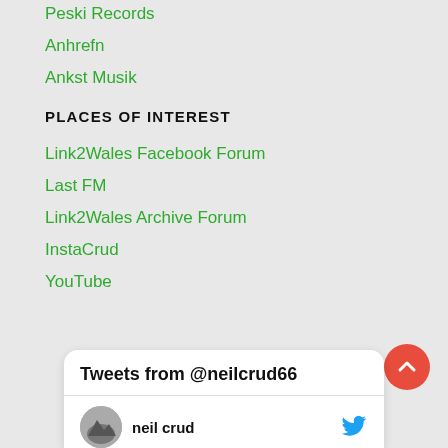Peski Records
Anhrefn
Ankst Musik
PLACES OF INTEREST
Link2Wales Facebook Forum
Last FM
Link2Wales Archive Forum
InstaCrud
YouTube
Tweets from @neilcrud66
neil crud